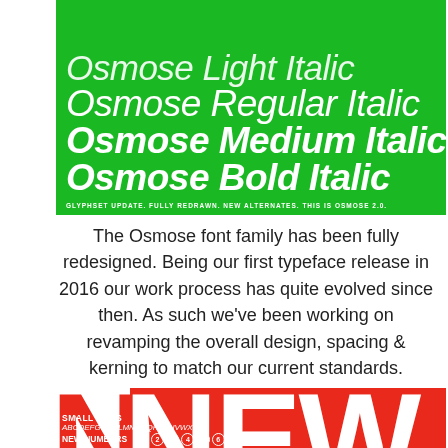[Figure (illustration): Green banner showcasing Osmose font family weights: Light Italic, Regular Italic, Medium Italic, Bold Italic, with subtitle 'Glyphset Update. Fully Redrawn. New Alternates. This is Osmose 2.0.']
The Osmose font family has been fully redesigned. Being our first typeface release in 2016 our work process has quite evolved since then. As such we've been working on revamping the overall design, spacing & kerning to match our current standards.
[Figure (illustration): Red banner with large white 'NEW' text, vertical 'GLYPHSET' label, and bottom text showing 'SMALL CAPS', alphabet in small caps italic, 'NEW NUMBERS' with circled numerals 1-9.]